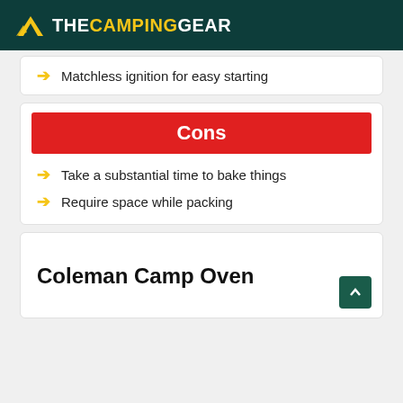THECAMPINGGEAR
Matchless ignition for easy starting
Cons
Take a substantial time to bake things
Require space while packing
Coleman Camp Oven